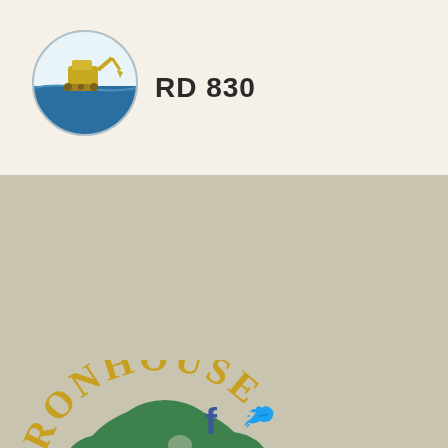[Figure (logo): RD 830 circular logo with yellow excavator on blue water background]
RD 830
[Figure (logo): Ironhouse Sanitary District logo: green sketched oak tree with IRONHOUSE arched in gold above and SANITARY DISTRICT in gold below, on tan/beige background]
[Figure (logo): Facebook and Twitter social media icons in blue]